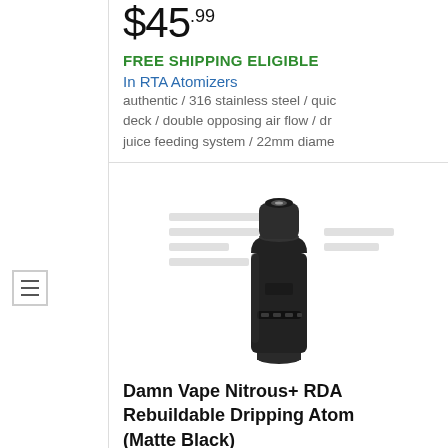$45.99
FREE SHIPPING ELIGIBLE
In RTA Atomizers
authentic / 316 stainless steel / quick deck / double opposing air flow / dri juice feeding system / 22mm diame
[Figure (photo): Damn Vape Nitrous+ RDA Rebuildable Dripping Atomizer in Matte Black color - cylindrical vape atomizer device]
Damn Vape Nitrous+ RDA Rebuildable Dripping Atom (Matte Black)
$34.99
FREE SHIPPING ELIGIBLE
In RDA Atomizers
authentic / stainless steel / single & / compressed vaporizing chamber / RDL vaping / 22mm diameter